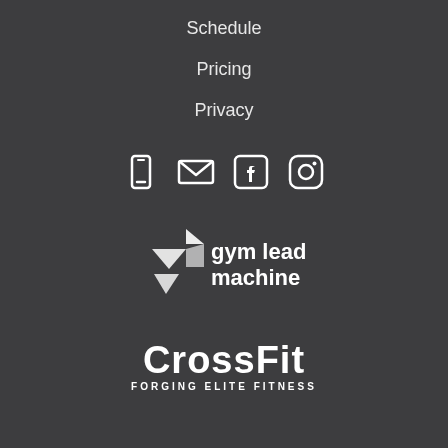Schedule
Pricing
Privacy
[Figure (infographic): Row of four white icons: smartphone/phone, envelope/email, Facebook logo, Instagram logo]
[Figure (logo): Gym Lead Machine logo with geometric chevron/arrow shapes and text 'gym lead machine']
[Figure (logo): CrossFit logo with bold text 'CrossFit' and tagline 'FORGING ELITE FITNESS']